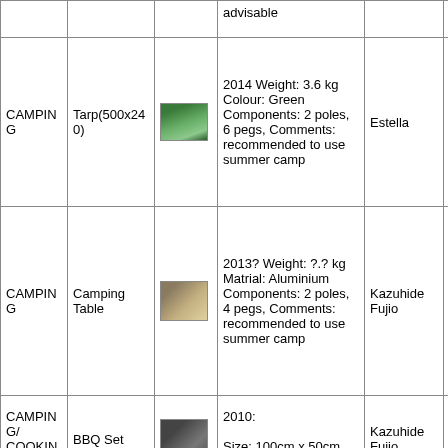| Category | Name | Image | Description | Owner | Available |
| --- | --- | --- | --- | --- | --- |
|  |  |  | advisable |  |  |
| CAMPING | Tarp(500x240) | [img] | 2014 Weight: 3.6 kg Colour: Green Components: 2 poles, 6 pegs, Comments: recommended to use summer camp | Estella | No |
| CAMPING | Camping Table | [img] | 2013? Weight: ?.? kg Matrial: Aluminium Components: 2 poles, 4 pegs, Comments: recommended to use summer camp | Kazuhide Fujio | NO |
| CAMPING/ COOKING | BBQ Set | [img] | 2010: Size: 100cm x 50cm x15cm | Kazuhide Fujio | NO |
| CAMPING/ | Pan 15 liter | [img] | 15 liter | Yuri | NO |